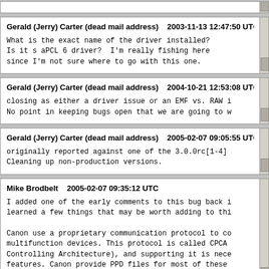Gerald (Jerry) Carter (dead mail address)    2003-11-13 12:47:50 UTC

What is the exact name of the driver installed?
Is it s aPCL 6 driver?  I'm really fishing here
since I'm not sure where to go with this one.
Gerald (Jerry) Carter (dead mail address)    2004-10-21 12:53:08 UTC

closing as either a driver issue or an EMF vs. RAW i
No point in keeping bugs open that we are going to w
Gerald (Jerry) Carter (dead mail address)    2005-02-07 09:05:55 UTC

originally reported against one of the 3.0.0rc[1-4]
Cleaning up non-production versions.
Mike Brodbelt    2005-02-07 09:35:12 UTC

I added one of the early comments to this bug back i
learned a few things that may be worth adding to thi

Canon use a proprietary communication protocol to co
multifunction devices. This protocol is called CPCA
Controlling Architecture), and supporting it is nece
features. Canon provide PPD files for most of these